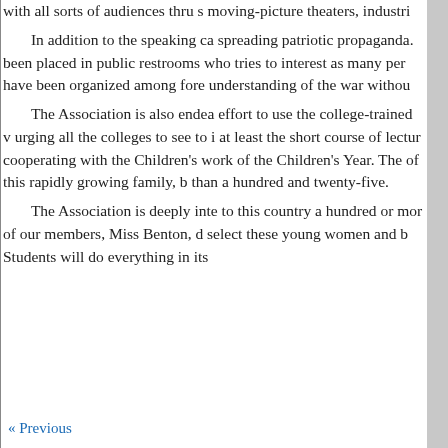with all sorts of audiences thru s moving-picture theaters, industri In addition to the speaking ca spreading patriotic propaganda. been placed in public restrooms who tries to interest as many per have been organized among fore understanding of the war withou The Association is also endea effort to use the college-trained v urging all the colleges to see to i at least the short course of lectur cooperating with the Children's work of the Children's Year. The of this rapidly growing family, b than a hundred and twenty-five. The Association is deeply inte to this country a hundred or mor of our members, Miss Benton, d select these young women and b Students will do everything in its
« Previous